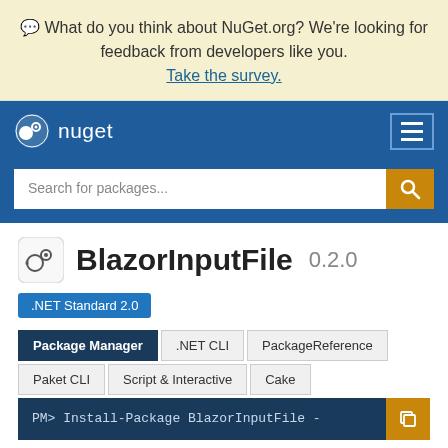💬 What do you think about NuGet.org? We're looking for feedback from developers like you. Take the survey.
[Figure (logo): NuGet logo and navigation bar with hamburger menu]
Search for packages...
BlazorInputFile 0.2.0
.NET Standard 2.0
Package Manager | .NET CLI | PackageReference | Paket CLI | Script & Interactive | Cake
PM> Install-Package BlazorInputFile -